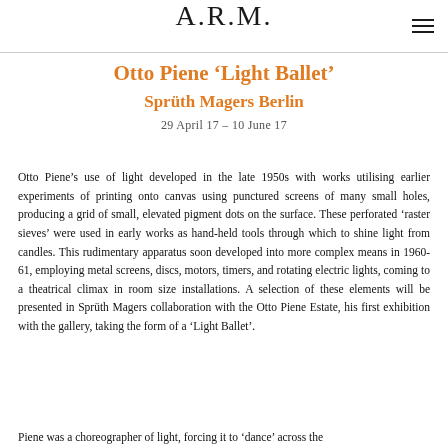A.R.M.
Otto Piene ‘Light Ballet’
Sprüth Magers Berlin
29 April 17 – 10 June 17
Otto Piene’s use of light developed in the late 1950s with works utilising earlier experiments of printing onto canvas using punctured screens of many small holes, producing a grid of small, elevated pigment dots on the surface. These perforated ‘raster sieves’ were used in early works as hand-held tools through which to shine light from candles. This rudimentary apparatus soon developed into more complex means in 1960-61, employing metal screens, discs, motors, timers, and rotating electric lights, coming to a theatrical climax in room size installations. A selection of these elements will be presented in Sprüth Magers collaboration with the Otto Piene Estate, his first exhibition with the gallery, taking the form of a ‘Light Ballet’.
Piene was a choreographer of light, forcing it to ‘dance’ across the